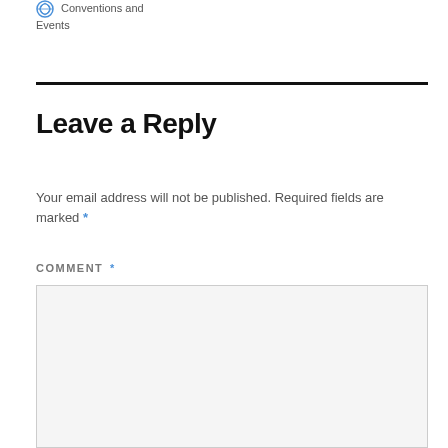Conventions and Events
Leave a Reply
Your email address will not be published. Required fields are marked *
COMMENT *